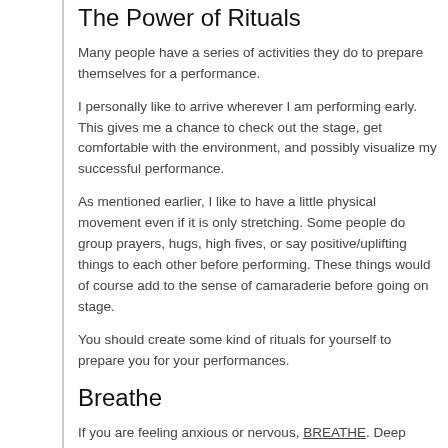The Power of Rituals
Many people have a series of activities they do to prepare themselves for a performance.
I personally like to arrive wherever I am performing early. This gives me a chance to check out the stage, get comfortable with the environment, and possibly visualize my successful performance.
As mentioned earlier, I like to have a little physical movement even if it is only stretching. Some people do group prayers, hugs, high fives, or say positive/uplifting things to each other before performing. These things would of course add to the sense of camaraderie before going on stage.
You should create some kind of rituals for yourself to prepare you for your performances.
Breathe
If you are feeling anxious or nervous, BREATHE. Deep breathing helps to overcome stress and anxiety. Breathe slowly and mindfully. Breathe slowly in through the nose to your lower belly (abdomen) for about 4 seconds, hold for 2 seconds, then exhale through your mouth for about 4 seconds. Try to make sure that your whole body is relatively relaxed. Visualize a calm place while you are focusing on your breathe.